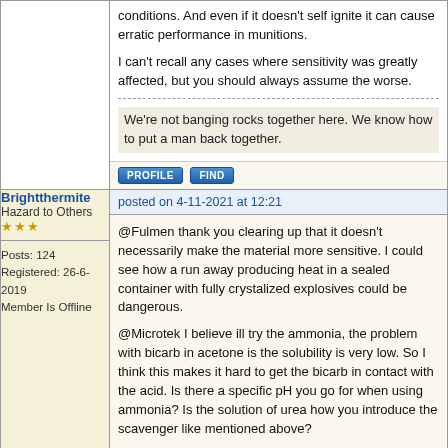conditions. And even if it doesn't self ignite it can cause erratic performance in munitions.

I can't recall any cases where sensitivity was greatly affected, but you should always assume the worse.
We're not banging rocks together here. We know how to put a man back together.
posted on 4-11-2021 at 12:21
Brightthermite
Hazard to Others
★★★
Posts: 124
Registered: 26-6-2019
Member Is Offline
@Fulmen thank you clearing up that it doesn't necessarily make the material more sensitive. I could see how a run away producing heat in a sealed container with fully crystalized explosives could be dangerous.

@Microtek I believe ill try the ammonia, the problem with bicarb in acetone is the solubility is very low. So I think this makes it hard to get the bicarb in contact with the acid. Is there a specific pH you go for when using ammonia? Is the solution of urea how you introduce the scavenger like mentioned above?